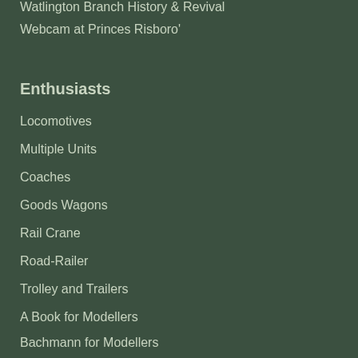Watlington Branch History & Revival
Webcam at Princes Risboro'
Enthusiasts
Locomotives
Multiple Units
Coaches
Goods Wagons
Rail Crane
Road-Railer
Trolley and Trailers
A Book for Modellers
Bachmann for Modellers